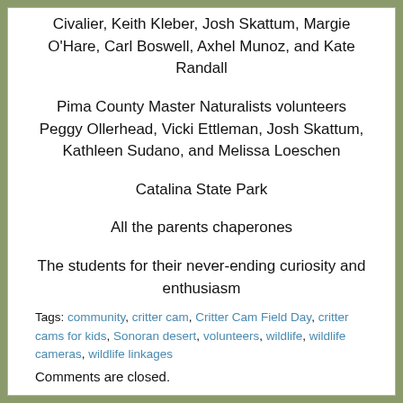Civalier, Keith Kleber, Josh Skattum, Margie O'Hare, Carl Boswell, Axhel Munoz, and Kate Randall
Pima County Master Naturalists volunteers Peggy Ollerhead, Vicki Ettleman, Josh Skattum, Kathleen Sudano, and Melissa Loeschen
Catalina State Park
All the parents chaperones
The students for their never-ending curiosity and enthusiasm
Tags: community, critter cam, Critter Cam Field Day, critter cams for kids, Sonoran desert, volunteers, wildlife, wildlife cameras, wildlife linkages
Comments are closed.